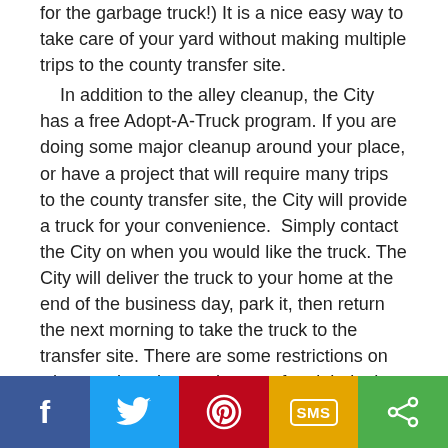for the garbage truck!) It is a nice easy way to take care of your yard without making multiple trips to the county transfer site.
    In addition to the alley cleanup, the City has a free Adopt-A-Truck program. If you are doing some major cleanup around your place, or have a project that will require many trips to the county transfer site, the City will provide a truck for your convenience.  Simply contact the City on when you would like the truck. The City will deliver the truck to your home at the end of the business day, park it, then return the next morning to take the truck to the transfer site. There are some restrictions on what can be taken to the transfer sight in the trucks, so please tell the clerks ahead of time what you intend on having hauled.
    Both the alley clean-up and Adopt-A-Truck services are provided at no charge as a way to help you keep Weiser looking good!
    Well, that's it for this week! Weiser is such a great place to live!
[Figure (infographic): Social sharing bar with Facebook, Twitter, Pinterest, SMS, and share icons]